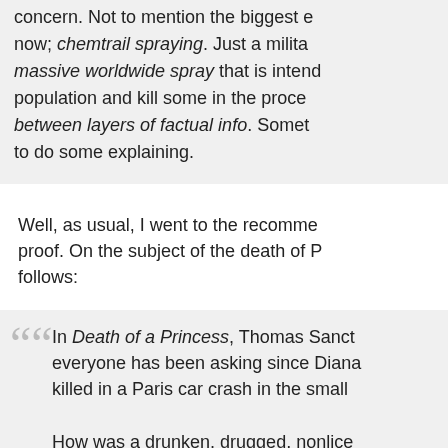concern. Not to mention the biggest e now; chemtrail spraying. Just a milita massive worldwide spray that is intend population and kill some in the proce between layers of factual info. Somet to do some explaining.
Well, as usual, I went to the recommen proof. On the subject of the death of Pr follows:
In Death of a Princess, Thomas Sanct everyone has been asking since Diana killed in a Paris car crash in the small

How was a drunken, drugged, nonlice Mercedes?

Why was the driver, off-duty Ritz Hote